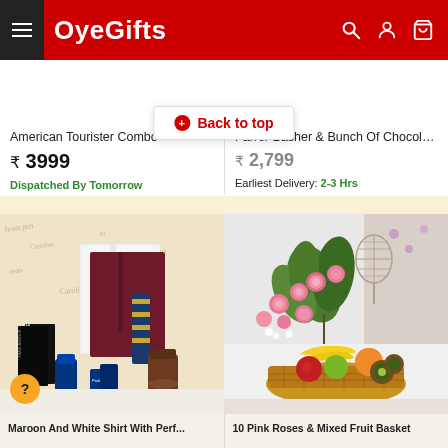[Figure (screenshot): OyeGifts website header with red background, hamburger menu, logo, search icon, user icon, and cart icon]
American Tourister Combo
₹ 3999
Dispatched By Tomorrow
Farrer Basher & Bunch Of Chocolat...
₹ 2,799
Earliest Delivery: 2-3 Hrs
Back to top
[Figure (photo): Men's formal shirts with tie, Park Avenue grooming products, coffee jar — gift combo on white background with cursive script backdrop]
[Figure (photo): Pink roses and green plants arrangement in basket with assorted fresh fruits (bananas, oranges, apples, kiwi) in a wicker basket]
Maroon And White Shirt With Perf...
10 Pink Roses & Mixed Fruit Basket